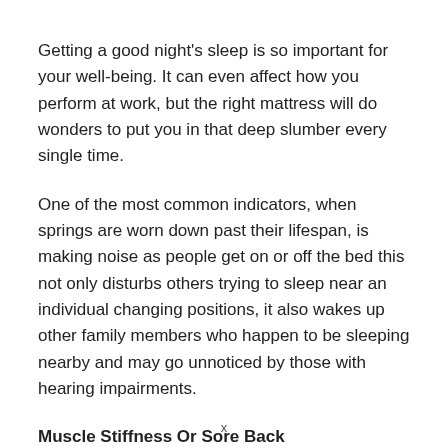Getting a good night's sleep is so important for your well-being. It can even affect how you perform at work, but the right mattress will do wonders to put you in that deep slumber every single time.
One of the most common indicators, when springs are worn down past their lifespan, is making noise as people get on or off the bed this not only disturbs others trying to sleep near an individual changing positions, it also wakes up other family members who happen to be sleeping nearby and may go unnoticed by those with hearing impairments.
Muscle Stiffness Or Sore Back
x